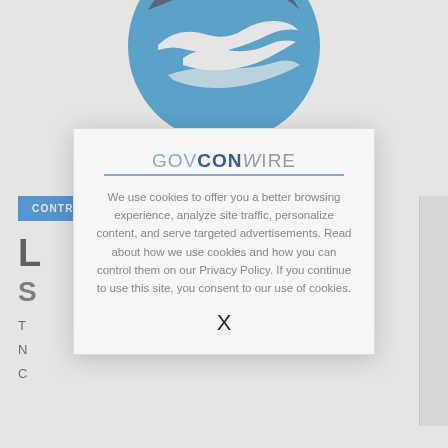[Figure (logo): NOAA logo — blue circle with white bird/wave graphic]
CONTRACT AWARDS
L
S
T
N
C
[Figure (screenshot): GovConWire cookie consent modal overlay with logo, cookie policy text, and X close button]
We use cookies to offer you a better browsing experience, analyze site traffic, personalize content, and serve targeted advertisements. Read about how we use cookies and how you can control them on our Privacy Policy. If you continue to use this site, you consent to our use of cookies.